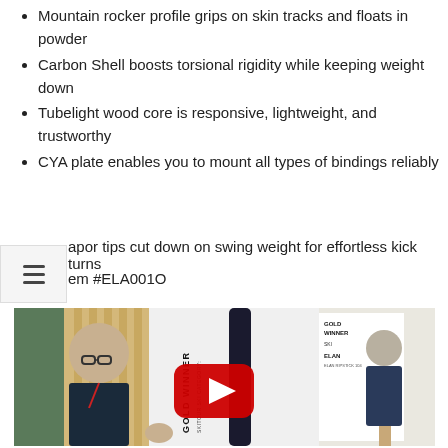Mountain rocker profile grips on skin tracks and floats in powder
Carbon Shell boosts torsional rigidity while keeping weight down
Tubelight wood core is responsive, lightweight, and trustworthy
CYA plate enables you to mount all types of bindings reliably
apor tips cut down on swing weight for effortless kick turns
em #ELA001O
[Figure (photo): A man with glasses holding a ski at a trade show display. The display shows a GOLD WINNER sign. A YouTube play button overlay is visible in the center of the image.]